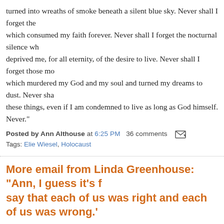turned into wreaths of smoke beneath a silent blue sky. Never shall I forget the which consumed my faith forever. Never shall I forget the nocturnal silence w deprived me, for all eternity, of the desire to live. Never shall I forget those m which murdered my God and my soul and turned my dreams to dust. Never sh these things, even if I am condemned to live as long as God himself. Never."
Posted by Ann Althouse at 6:25 PM   36 comments
Tags: Elie Wiesel, Holocaust
More email from Linda Greenhouse: "Ann, I guess it's f say that each of us was right and each of us was wrong."
So, you may remember yesterday's post, "What Linda Greenhouse emailed me I blogged about what she wrote in The NYT about Justice Kennedy," in which challenged Linda Greenhouse — who'd said "I would caution you against cha facts." The fact in question was whether Justice Kennedy should be given sole writing "Liberty finds no refuge in a jurisprudence of doubt," the first sentence opinion in the 1992 abortion case, Planned Parenthood v. Casey, which was p the Supreme Court as a joint opinion of Justices O'Connor, Kennedy, and Sout